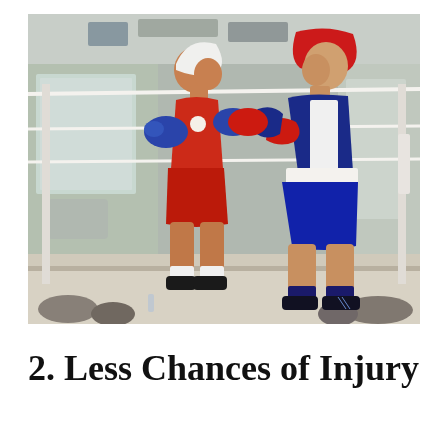[Figure (photo): Two boxers in a boxing ring during a match. The boxer on the left wears red shorts and a white helmet, the boxer on the right wears blue shorts and a red helmet. They are squaring off in what appears to be an indoor gymnasium.]
2. Less Chances of Injury